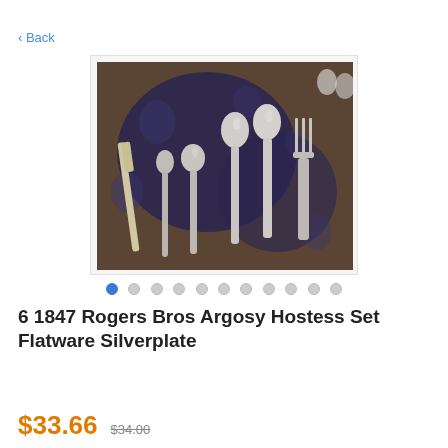< Back
[Figure (photo): Six pieces of 1847 Rogers Bros Argosy silverplate flatware arranged on a floral patterned dark blue and brown fabric background. Items include a butter knife, small spoon, ladle, two large spoons, and a fork.]
6 1847 Rogers Bros Argosy Hostess Set Flatware Silverplate
$33.66  $34.00